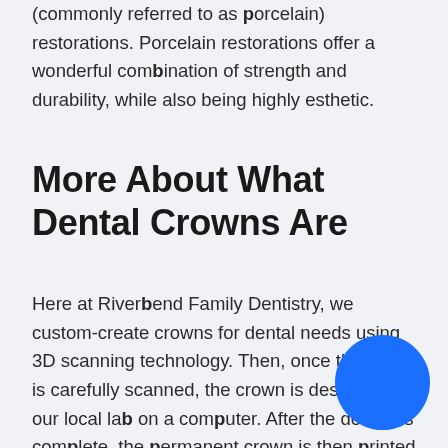(commonly referred to as porcelain) restorations. Porcelain restorations offer a wonderful combination of strength and durability, while also being highly esthetic.
More About What Dental Crowns Are
Here at Riverbend Family Dentistry, we custom-create crowns for dental needs using 3D scanning technology. Then, once the tooth is carefully scanned, the crown is designed by our local lab on a computer. After the design is complete, the permanent crown is then printed (or milled) from a block of porcelain. The resulting crown is a precision fit, very strong, and esthetic option for both cosmetic and restorative dental needs.